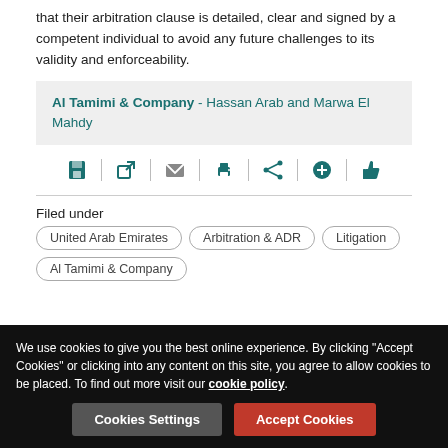that their arbitration clause is detailed, clear and signed by a competent individual to avoid any future challenges to its validity and enforceability.
Al Tamimi & Company - Hassan Arab and Marwa El Mahdy
[Figure (other): Row of action icons: save, open external, email, print, share, add, like]
Filed under
United Arab Emirates
Arbitration & ADR
Litigation
Al Tamimi & Company
We use cookies to give you the best online experience. By clicking "Accept Cookies" or clicking into any content on this site, you agree to allow cookies to be placed. To find out more visit our cookie policy.